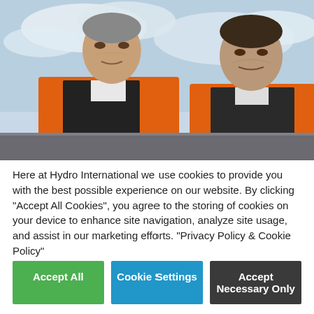[Figure (photo): Two men wearing orange high-visibility vests over dark jackets, looking downward, photographed outdoors against a cloudy sky. The man on the left is older with grey hair; the man on the right is younger with dark hair.]
Here at Hydro International we use cookies to provide you with the best possible experience on our website. By clicking "Accept All Cookies", you agree to the storing of cookies on your device to enhance site navigation, analyze site usage, and assist in our marketing efforts. "Privacy Policy & Cookie Policy"
Accept All
Cookie Settings
Accept Necessary Only